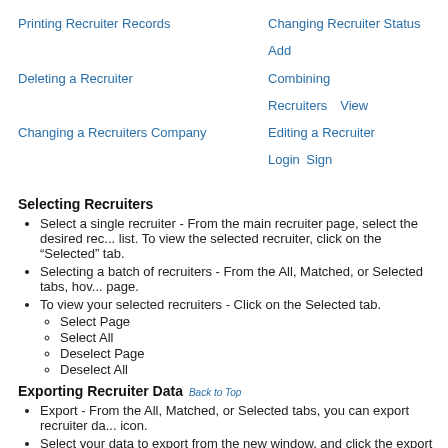Printing Recruiter Records   Changing Recruiter Status   Add
Deleting a Recruiter   Combining Recruiters   View
Changing a Recruiters Company   Editing a Recruiter Login   Sign
Selecting Recruiters
Select a single recruiter - From the main recruiter page, select the desired rec... list. To view the selected recruiter, click on the "Selected" tab.
Selecting a batch of recruiters - From the All, Matched, or Selected tabs, how... page.
To view your selected recruiters - Click on the Selected tab.
Select Page
Select All
Deselect Page
Deselect All
Exporting Recruiter Data Back to Top
Export - From the All, Matched, or Selected tabs, you can export recruiter da... icon.
Select your data to export from the new window, and click the export button.
Click “Download CSV Export” button.
Adding Recruiter Notes Back to Top